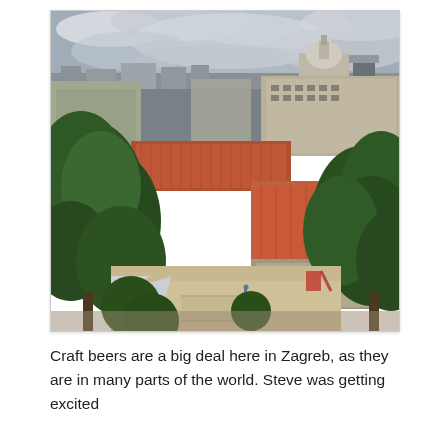[Figure (photo): Aerial/elevated view of Zagreb, Croatia, showing a cityscape with red-tiled rooftops, large green trees in the foreground, a long street receding into the distance, historic buildings including a domed structure, and a cloudy grey sky above. A sandy playground area is visible in the lower foreground.]
Craft beers are a big deal here in Zagreb, as they are in many parts of the world. Steve was getting excited